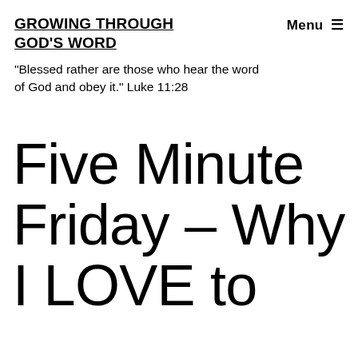GROWING THROUGH GOD'S WORD
Menu ≡
"Blessed rather are those who hear the word of God and obey it." Luke 11:28
Five Minute Friday – Why I LOVE to